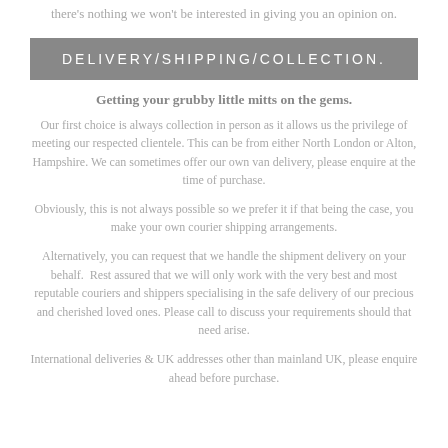there's nothing we won't be interested in giving you an opinion on.
DELIVERY/SHIPPING/COLLECTION.
Getting your grubby little mitts on the gems.
Our first choice is always collection in person as it allows us the privilege of meeting our respected clientele. This can be from either North London or Alton, Hampshire. We can sometimes offer our own van delivery, please enquire at the time of purchase.
Obviously, this is not always possible so we prefer it if that being the case, you make your own courier shipping arrangements.
Alternatively, you can request that we handle the shipment delivery on your behalf. Rest assured that we will only work with the very best and most reputable couriers and shippers specialising in the safe delivery of our precious and cherished loved ones. Please call to discuss your requirements should that need arise.
International deliveries & UK addresses other than mainland UK, please enquire ahead before purchase.